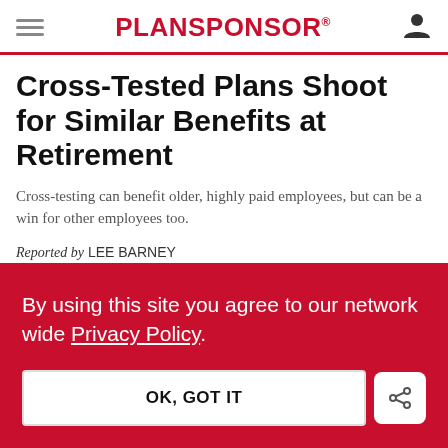PLANSPONSOR
Cross-Tested Plans Shoot for Similar Benefits at Retirement
Cross-testing can benefit older, highly paid employees, but can be a win for other employees too.
Reported by LEE BARNEY
By using this site you agree to our network wide Privacy Policy.
OK, GOT IT